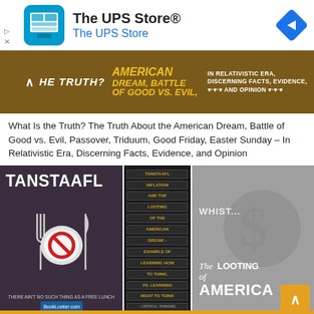[Figure (screenshot): UPS Store advertisement banner with blue app icon, store name and navigation arrow icon]
[Figure (photo): Brown book banner: 'THE TRUTH? AMERICAN DREAM, BATTLE OF GOOD VS. EVIL, IN RELATIVISTIC ERA, DISCERNING FACTS, EVIDENCE, AND OPINION']
What Is the Truth? The Truth About the American Dream, Battle of Good vs. Evil, Passover, Triduum, Good Friday, Easter Sunday – In Relativistic Era, Discerning Facts, Evidence, and Opinion
[Figure (photo): Three book covers: TANSTAAFL (plate with no symbol on dark background), TANSTAAFL INFLATION AND THE LOOTING OF THE AMERICAN DREAM (text on black), The Looting of America (smoky dollar sign on gray)]